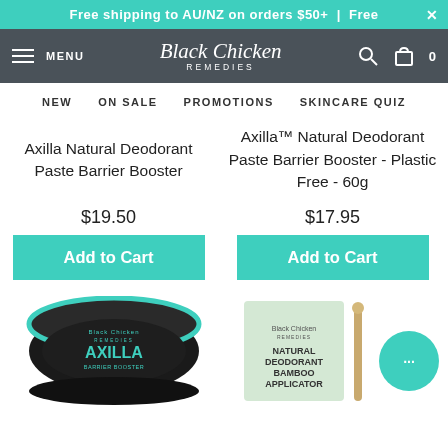Free shipping to AU/NZ on orders $50+  |  Free
Black Chicken Remedies  MENU  0
NEW  ON SALE  PROMOTIONS  SKINCARE QUIZ
Axilla Natural Deodorant Paste Barrier Booster
Axilla™ Natural Deodorant Paste Barrier Booster - Plastic Free - 60g
$19.50
$17.95
Add to Cart
Add to Cart
[Figure (photo): Black Axilla Barrier Booster tin with teal branding, Black Chicken Remedies]
[Figure (photo): Natural Deodorant Bamboo Applicator product box with teal chat bubble icon]